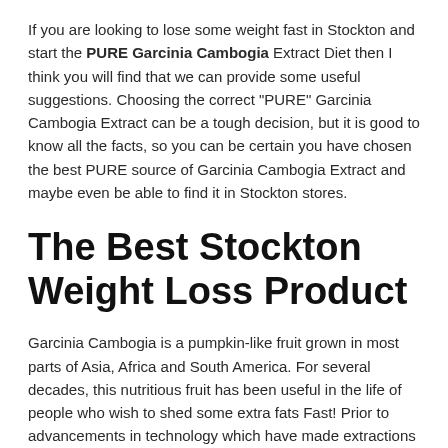If you are looking to lose some weight fast in Stockton and start the PURE Garcinia Cambogia Extract Diet then I think you will find that we can provide some useful suggestions. Choosing the correct "PURE" Garcinia Cambogia Extract can be a tough decision, but it is good to know all the facts, so you can be certain you have chosen the best PURE source of Garcinia Cambogia Extract and maybe even be able to find it in Stockton stores.
The Best Stockton Weight Loss Product
Garcinia Cambogia is a pumpkin-like fruit grown in most parts of Asia, Africa and South America. For several decades, this nutritious fruit has been useful in the life of people who wish to shed some extra fats Fast! Prior to advancements in technology which have made extractions possible, this fruit was used as a spice in the preparation of local dishes because its aroma was said to reduce hunger pang intervals in humans. In some Asian countries such as Malaysia and Indonesia, this fruit was eaten raw for the same purpose. Though the working